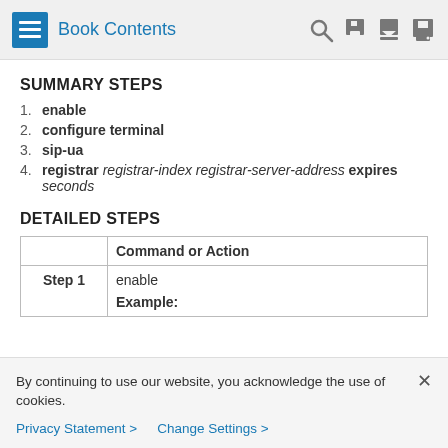Book Contents
SUMMARY STEPS
1. enable
2. configure terminal
3. sip-ua
4. registrar registrar-index registrar-server-address expires seconds
DETAILED STEPS
|  | Command or Action |
| --- | --- |
| Step 1 | enable
Example: |
By continuing to use our website, you acknowledge the use of cookies.
Privacy Statement > Change Settings >